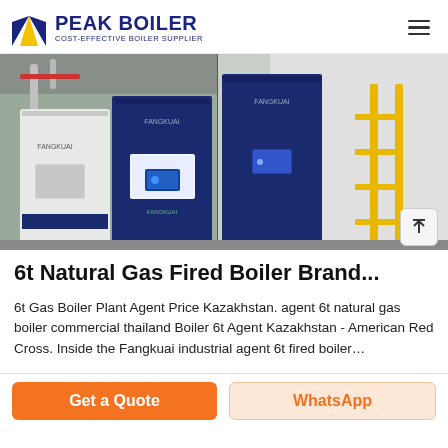PEAK BOILER COST-EFFECTIVE BOILER SUPPLIER
[Figure (photo): Industrial boiler units (Fangkuai brand) installed in a facility. Left side shows white/dark blue cabinet-style boiler units side by side. Right side shows a taller dark blue boiler unit with yellow scaffolding/ladder structure against a white wall.]
6t Natural Gas Fired Boiler Brand...
6t Gas Boiler Plant Agent Price Kazakhstan. agent 6t natural gas boiler commercial thailand Boiler 6t Agent Kazakhstan - American Red Cross. Inside the Fangkuai industrial agent 6t fired boiler…